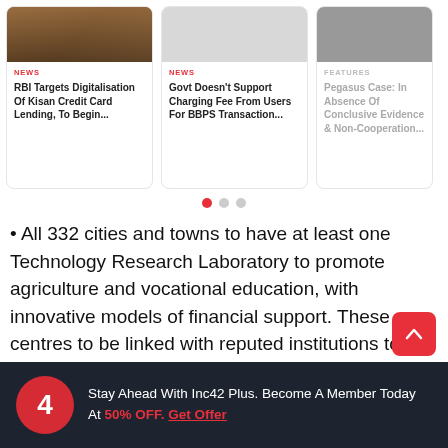[Figure (screenshot): News card 1 image - wildlife/animals in nature]
NEWS
RBI Targets Digitalisation Of Kisan Credit Card Lending, To Begin...
[Figure (screenshot): News card 2 image - blank/light grey]
NEWS
Govt Doesn't Support Charging Fee From Users For BBPS Transaction...
[Figure (screenshot): News card 3 image - keyboard/tech]
FEATURES
Pegasus Case: In Absence Of Conclusive Evidence & Non-Cooperation...
All 332 cities and towns to have at least one Technology Research Laboratory to promote agriculture and vocational education, with innovative models of financial support. These centres to be linked with reputed institutions to offer courses using technology.
Stay Ahead With Inc42 Plus. Become A Member Today At 50% OFF. Get Offer